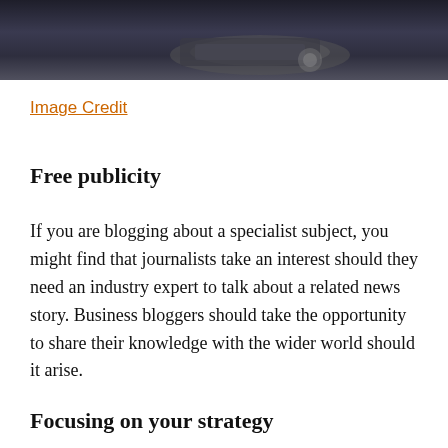[Figure (photo): A dark blurred photo showing hands on a keyboard or tablet device, partially cropped at top of page.]
Image Credit
Free publicity
If you are blogging about a specialist subject, you might find that journalists take an interest should they need an industry expert to talk about a related news story. Business bloggers should take the opportunity to share their knowledge with the wider world should it arise.
Focusing on your strategy